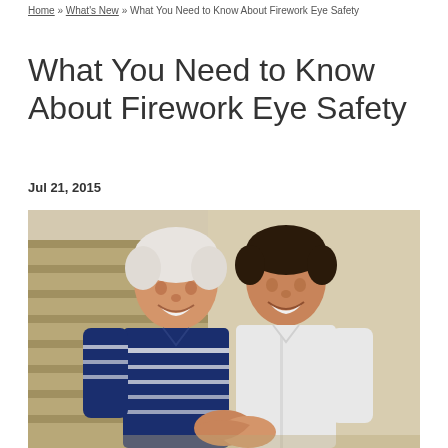Home » What's New » What You Need to Know About Firework Eye Safety
What You Need to Know About Firework Eye Safety
Jul 21, 2015
[Figure (photo): Two men smiling and shaking hands outdoors. An older man with white hair wearing a navy blue striped polo shirt stands on the left, and a younger man with dark hair wearing a white button-up shirt stands on the right. Background shows a stone wall and green foliage.]